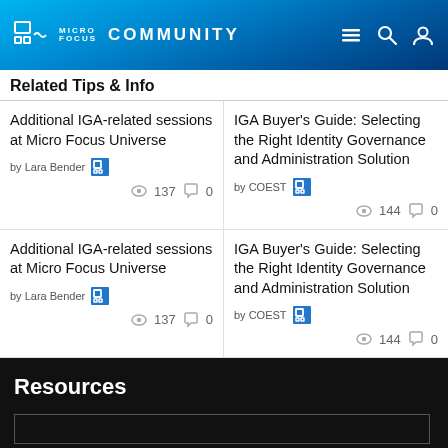Micro Focus Community
Related Tips & Info
Additional IGA-related sessions at Micro Focus Universe — by Lara Bender — 137 views 0 comments
IGA Buyer's Guide: Selecting the Right Identity Governance and Administration Solution — by COEST — 144 views 0 comments
Additional IGA-related sessions at Micro Focus Universe — by Lara Bender — 137 views 0 comments
IGA Buyer's Guide: Selecting the Right Identity Governance and Administration Solution — by COEST — 144 views 0 comments
Resources